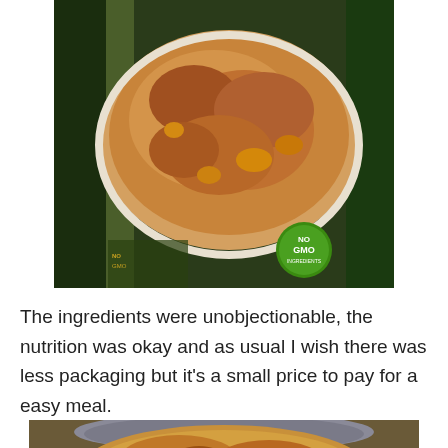[Figure (photo): Organic Shepherd's Pie frozen meal package, showing the baked dish inside with browned mashed potato topping, visible packaging text and a 'No GMO' green badge]
The ingredients were unobjectionable, the nutrition was okay and as usual I wish there was less packaging but it's a small price to pay for a easy meal.
[Figure (photo): Close-up photo of the shepherd's pie served in a bowl, showing golden-brown mashed potato topping]